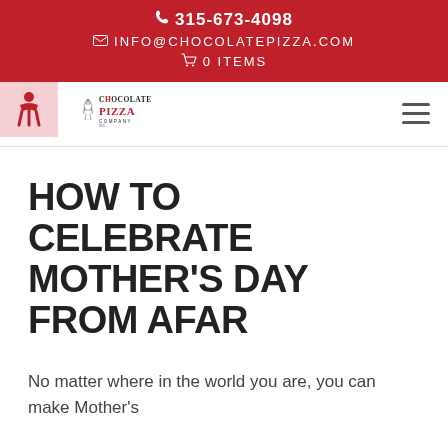315-673-4098 | INFO@CHOCOLATEPIZZA.COM | 0 ITEMS
[Figure (logo): Chocolate Pizza Company Inc. logo with chef figure and decorative lettering]
HOW TO CELEBRATE MOTHER'S DAY FROM AFAR
No matter where in the world you are, you can make Mother's